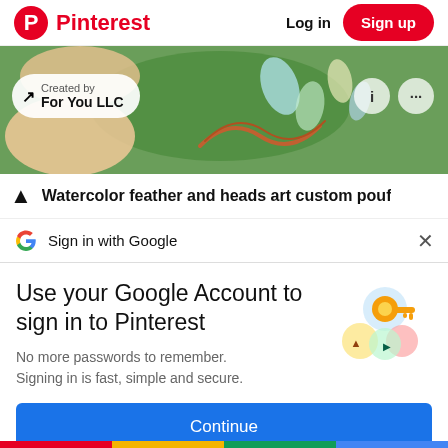Pinterest  Log in  Sign up
[Figure (photo): A hand holding wire-wrapped crystal beads jewelry over green grass background, with 'Created by For You LLC' badge, info and more-options icon circles overlaid]
Watercolor feather and heads art custom pouf
Sign in with Google
Use your Google Account to sign in to Pinterest
No more passwords to remember. Signing in is fast, simple and secure.
[Figure (illustration): Google key illustration - golden key with colorful circular shapes]
Continue